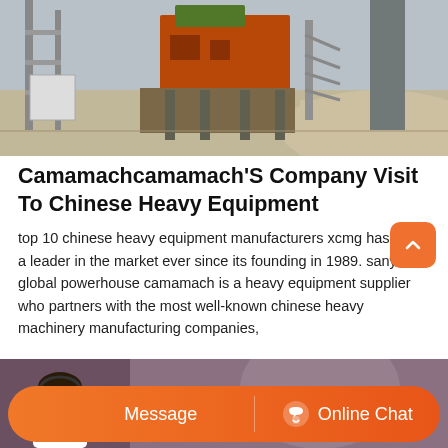[Figure (photo): Industrial construction or mining equipment / crusher machine at a facility with gravel pile]
Camamachcamamach'S Company Visit To Chinese Heavy Equipment
top 10 chinese heavy equipment manufacturers xcmg has been a leader in the market ever since its founding in 1989. sany is a global powerhouse camamach is a heavy equipment supplier who partners with the most well-known chinese heavy machinery manufacturing companies,
[Figure (photo): Second photo partially visible at bottom with customer service chat bar overlay showing Message and Online Chat buttons]